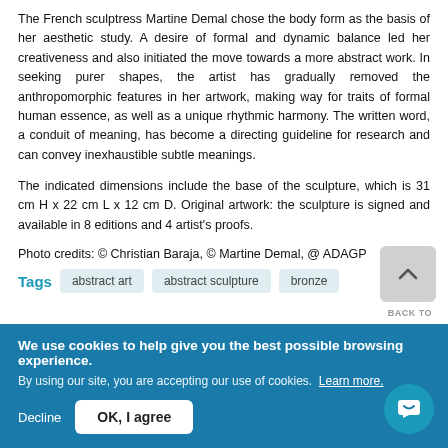The French sculptress Martine Demal chose the body form as the basis of her aesthetic study. A desire of formal and dynamic balance led her creativeness and also initiated the move towards a more abstract work. In seeking purer shapes, the artist has gradually removed the anthropomorphic features in her artwork, making way for traits of formal human essence, as well as a unique rhythmic harmony. The written word, a conduit of meaning, has become a directing guideline for research and can convey inexhaustible subtle meanings.
The indicated dimensions include the base of the sculpture, which is 31 cm H x 22 cm L x 12 cm D. Original artwork: the sculpture is signed and available in 8 editions and 4 artist's proofs.
Photo credits: © Christian Baraja, © Martine Demal, @ ADAGP
Tags: abstract art | abstract sculpture | bronze
We use cookies to help give you the best possible browsing experience. By using our site, you are accepting our use of cookies. Learn more.